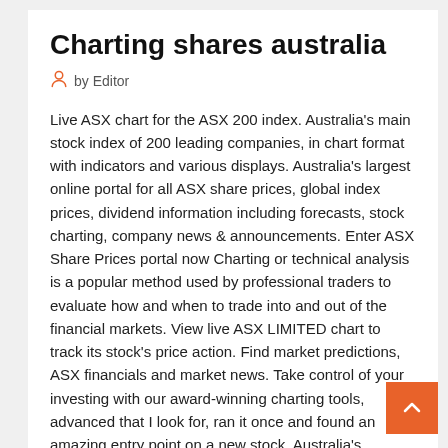Charting shares australia
by Editor
Live ASX chart for the ASX 200 index. Australia's main stock index of 200 leading companies, in chart format with indicators and various displays. Australia's largest online portal for all ASX share prices, global index prices, dividend information including forecasts, stock charting, company news & announcements. Enter ASX Share Prices portal now Charting or technical analysis is a popular method used by professional traders to evaluate how and when to trade into and out of the financial markets. View live ASX LIMITED chart to track its stock's price action. Find market predictions, ASX financials and market news. Take control of your investing with our award-winning charting tools, advanced that I look for, ran it once and found an amazing entry point on a new stock. Australia's S&P/ASX 200 index with REAL-TIME charts. ASX list of companies. Share prices and detailed information.